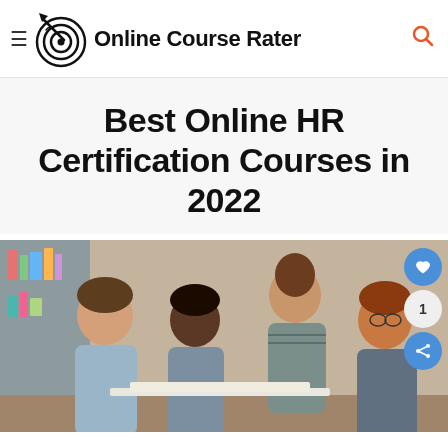Online Course Rater
Best Online HR Certification Courses in 2022
[Figure (photo): Group of four people (three men and one woman) leaning over a table and looking at documents or a device together, in an office or library setting. Social sharing buttons (heart/like, count '1', share) appear on the right side of the image.]